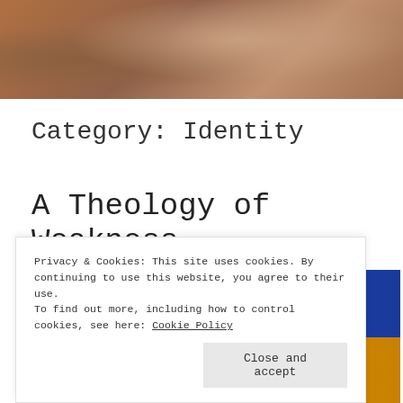[Figure (photo): Partial view of a person's face/hair in warm brown tones, cropped at top of page]
Category: Identity
A Theology of Weakness
[Figure (photo): Colorful painting with blue and golden yellow tones, partially visible, showing an eye at the bottom]
Privacy & Cookies: This site uses cookies. By continuing to use this website, you agree to their use.
To find out more, including how to control cookies, see here: Cookie Policy
Close and accept